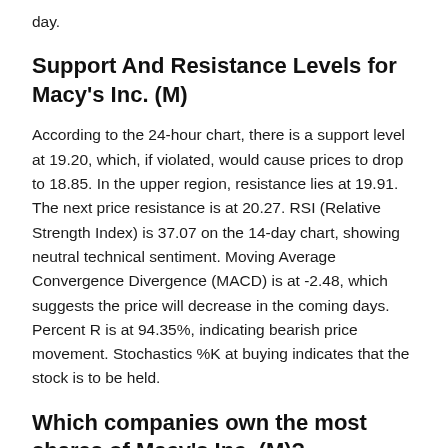day.
Support And Resistance Levels for Macy's Inc. (M)
According to the 24-hour chart, there is a support level at 19.20, which, if violated, would cause prices to drop to 18.85. In the upper region, resistance lies at 19.91. The next price resistance is at 20.27. RSI (Relative Strength Index) is 37.07 on the 14-day chart, showing neutral technical sentiment. Moving Average Convergence Divergence (MACD) is at -2.48, which suggests the price will decrease in the coming days. Percent R is at 94.35%, indicating bearish price movement. Stochastics %K at buying indicates that the stock is to be held.
Which companies own the most shares of Macy's Inc. (M)?